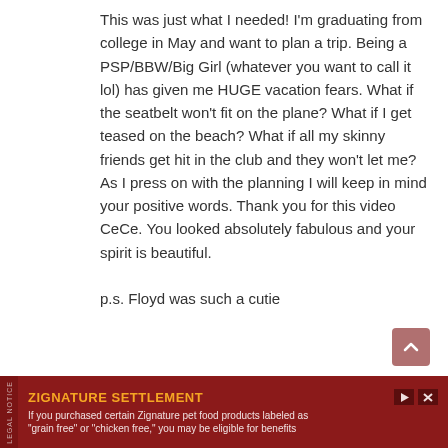This was just what I needed! I'm graduating from college in May and want to plan a trip. Being a PSP/BBW/Big Girl (whatever you want to call it lol) has given me HUGE vacation fears. What if the seatbelt won't fit on the plane? What if I get teased on the beach? What if all my skinny friends get hit in the club and they won't let me? As I press on with the planning I will keep in mind your positive words. Thank you for this video CeCe. You looked absolutely fabulous and your spirit is beautiful.

p.s. Floyd was such a cutie
Reply
[Figure (other): Scroll-to-top button, square with rounded corners, muted rose/mauve color, with upward chevron arrow icon]
ZIGNATURE SETTLEMENT
If you purchased certain Zignature pet food products labeled as "grain free" or "chicken free," you may be eligible for benefits